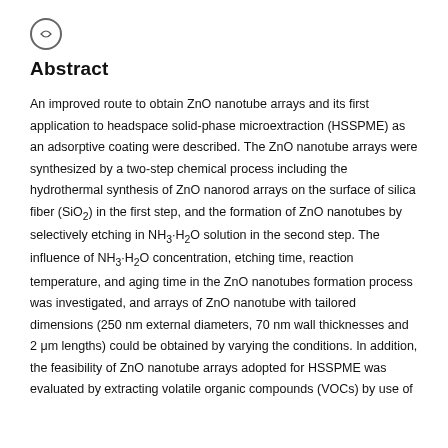Abstract
An improved route to obtain ZnO nanotube arrays and its first application to headspace solid-phase microextraction (HSSPME) as an adsorptive coating were described. The ZnO nanotube arrays were synthesized by a two-step chemical process including the hydrothermal synthesis of ZnO nanorod arrays on the surface of silica fiber (SiO₂) in the first step, and the formation of ZnO nanotubes by selectively etching in NH₃·H₂O solution in the second step. The influence of NH₃·H₂O concentration, etching time, reaction temperature, and aging time in the ZnO nanotubes formation process was investigated, and arrays of ZnO nanotube with tailored dimensions (250 nm external diameters, 70 nm wall thicknesses and 2 μm lengths) could be obtained by varying the conditions. In addition, the feasibility of ZnO nanotube arrays adopted for HSSPME was evaluated by extracting volatile organic compounds (VOCs) by use of